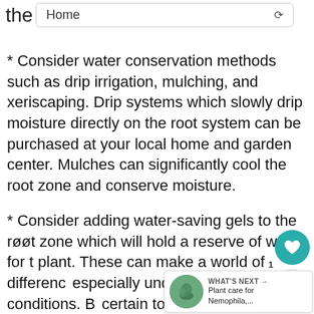the  Home
* Consider water conservation methods such as drip irrigation, mulching, and xeriscaping. Drip systems which slowly drip moisture directly on the root system can be purchased at your local home and garden center. Mulches can significantly cool the root zone and conserve moisture.
* Consider adding water-saving gels to the root zone which will hold a reserve of water for the plant. These can make a world of difference especially under stressful conditions. Be certain to follow label directions for u...